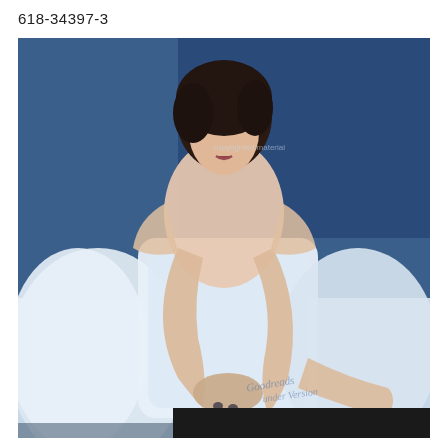618-34397-3
[Figure (photo): A woman with dark hair sitting on a white sofa/bed with white pillows, posed with her arms crossed over her knees, against a blue background. The image appears to be a book or album cover. There is faint text overlay reading 'copyrighted material' and cursive text at the bottom right. The bottom portion of the image has a dark/black bar.]